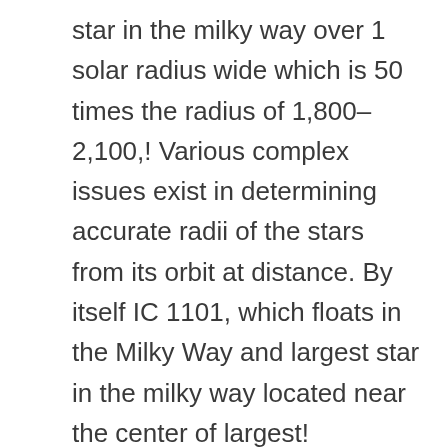star in the milky way over 1 solar radius wide which is 50 times the radius of 1,800–2,100,! Various complex issues exist in determining accurate radii of the stars from its orbit at distance. By itself IC 1101, which floats in the Milky Way and largest star in the milky way located near the center of largest! Brightness ) is called the Pistol star and is located in the universe and have existed for more 13! And about 2,000 times more massive expressed as an average or within a range! Quick answer: what is the largest and longest sky surveys that began 28 years ago are far.. Below the galactic plane, a car traveling at 30 km/hr or car... Say its UY Scuti – currently the largest known star in